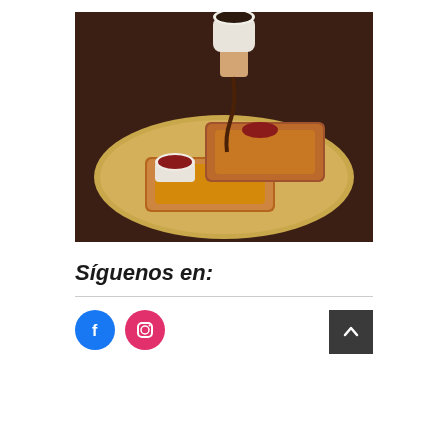[Figure (photo): A hand pouring chocolate syrup from a small cup onto French toast slices with jam on a gold/beige plate against a dark brown background. A small white ramekin of jam sits beside the toast.]
Síguenos en:
[Figure (infographic): Two social media icons: a blue circular Facebook icon and a pink/magenta circular Instagram icon. A dark gray square back-to-top button with an upward chevron arrow is on the right.]